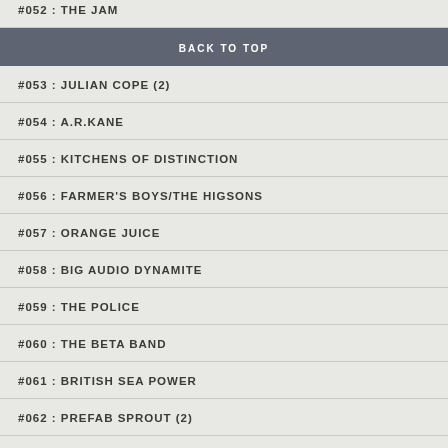#052 : THE JAM
BACK TO TOP
#053 : JULIAN COPE (2)
#054 : A.R.KANE
#055 : KITCHENS OF DISTINCTION
#056 : FARMER'S BOYS/THE HIGSONS
#057 : ORANGE JUICE
#058 : BIG AUDIO DYNAMITE
#059 : THE POLICE
#060 : THE BETA BAND
#061 : BRITISH SEA POWER
#062 : PREFAB SPROUT (2)
#063 : PJ HARVEY
#064 : THE STRANGLERS
#065 : KANYE WEST